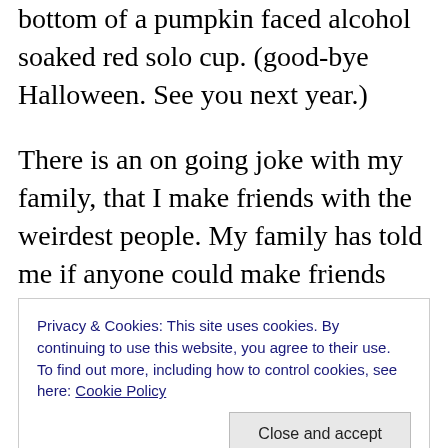bottom of a pumpkin faced alcohol soaked red solo cup. (good-bye Halloween. See you next year.)
There is an on going joke with my family, that I make friends with the weirdest people. My family has told me if anyone could make friends with a serial killer, it would be me. I argue that I do not have serial killer friends because really I don't have many friends. When I try to argue my point a Halloween story always comes up. I made friends with a monster, and I will never live it down.
Nine years ago a handful of my family and friends decided
Privacy & Cookies: This site uses cookies. By continuing to use this website, you agree to their use.
To find out more, including how to control cookies, see here: Cookie Policy
Close and accept
[Figure (photo): Bottom portion of a colorful banner image with text 'ALL YOU FEAR IS HERE' in stylized orange/red letters]